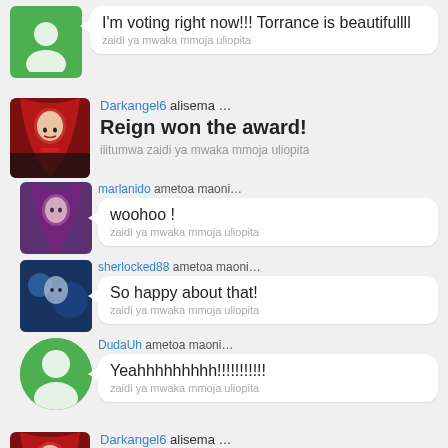I'm voting right now!!! Torrance is beautifullll
zaidi ya mwaka mmoja uliopita
Darkangel6 alisema …
Reign won the award!
ilitumwa zaidi ya mwaka mmoja uliopita
marlanido ametoa maoni…
woohoo !
zaidi ya mwaka mmoja uliopita
sherlocked88 ametoa maoni…
So happy about that!
zaidi ya mwaka mmoja uliopita
DudaUh ametoa maoni…
Yeahhhhhhhhh!!!!!!!!!!!
zaidi ya mwaka mmoja uliopita
Darkangel6 alisema …
The kura za maoni are still open wewe can still vote for Reign!